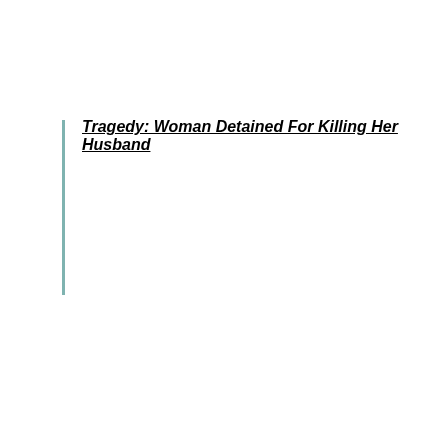Tragedy: Woman Detained For Killing Her Husband